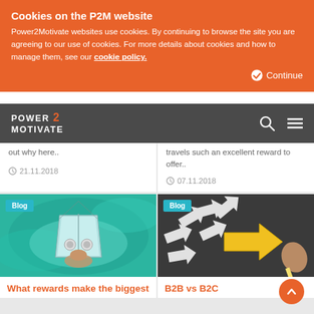Cookies on the P2M website — Power2Motivate websites use cookies. By continuing to browse the site you are agreeing to our use of cookies. For more details about cookies and how to manage them, see our cookie policy.
[Figure (logo): Power2Motivate logo with orange number 2, on dark grey navigation bar with search and menu icons]
out why here..
21.11.2018
travels such an excellent reward to offer..
07.11.2018
[Figure (photo): Aerial view of a person sitting on the bow of a teal/turquoise boat over clear blue-green water, with Blog label]
What rewards make the biggest
[Figure (photo): Close-up of white paper arrows and a yellow arrow drawn with chalk on dark background, with Blog label]
B2B vs B2C